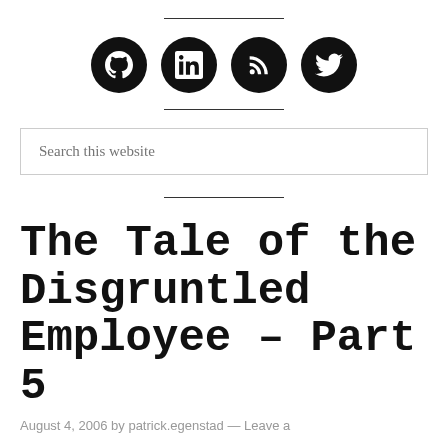[Figure (other): Four social media icon circles (GitHub, LinkedIn, RSS, Twitter) in black with white icons, centered horizontally, with horizontal divider lines above and below]
Search this website
The Tale of the Disgruntled Employee – Part 5
August 4, 2006 by patrick.egenstad — Leave a